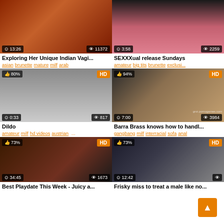[Figure (screenshot): Video thumbnail grid page showing 6 adult video thumbnails with titles, tags, duration and view counts]
Exploring Her Unique Indian Vagi...
asian brunette mature milf arab
SEXXXual release Sundays
amateur big tits brunette exclusi...
Dildo
amateur milf hd videos austrian ...
Barra Brass knows how to handl...
gangbang milf interracial sofa anal
Best Playdate This Week - Juicy a...
Frisky miss to treat a male like no...